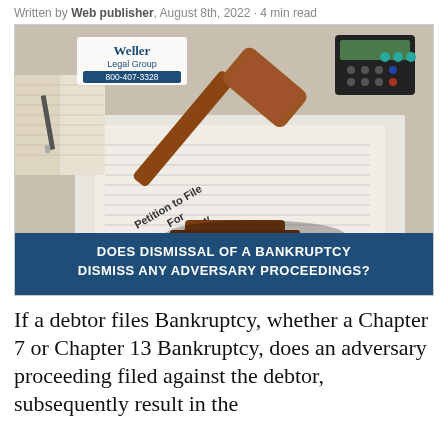Written by Web publisher, August 8th, 2022 · 4 min read
[Figure (photo): Photo of a judge's gavel resting on a 'Petition to File For Bankruptcy' document, with an open book and calculator in background. Blue banner at bottom reads: DOES DISMISSAL OF A BANKRUPTCY DISMISS ANY ADVERSARY PROCEEDINGS? Weller Legal Group logo with 800-407-3328 in top left.]
If a debtor files Bankruptcy, whether a Chapter 7 or Chapter 13 Bankruptcy, does an adversary proceeding filed against the debtor, subsequently result in the dismissal of the adversary proceeding?